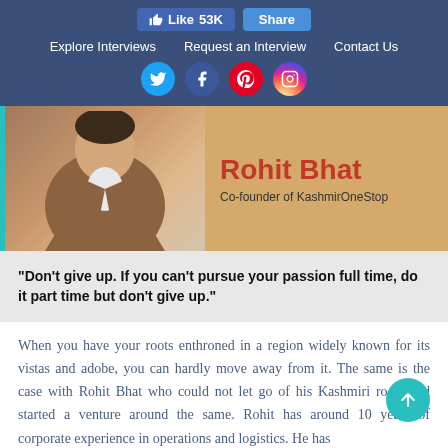Like 53K  Share  |  Explore Interviews  |  Request an Interview  |  Contact Us
[Figure (photo): Profile photo banner of Rohit Bhat, Co-founder of KashmirOneStop, with a teal left border and tan/golden background. Person wearing brown jacket visible.]
Rohit Bhat
Co-founder of KashmirOneStop
"Don't give up. If you can't pursue your passion full time, do it part time but don't give up."
When you have your roots enthroned in a region widely known for its vistas and adobe, you can hardly move away from it. The same is the case with Rohit Bhat who could not let go of his Kashmiri roots and started a venture around the same. Rohit has around 10 years of corporate experience in operations and logistics. He has